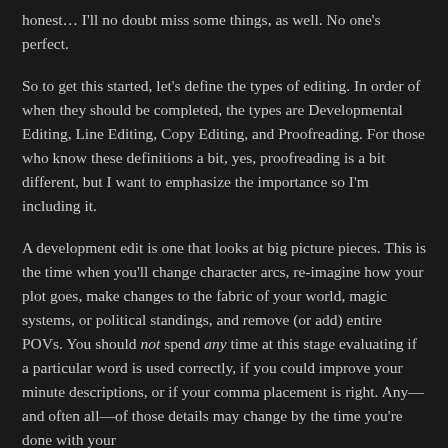honest… I'll no doubt miss some things, as well. No one's perfect.
So to get this started, let's define the types of editing. In order of when they should be completed, the types are Developmental Editing, Line Editing, Copy Editing, and Proofreading. For those who know these definitions a bit, yes, proofreading is a bit different, but I want to emphasize the importance so I'm including it.
A development edit is one that looks at big picture pieces. This is the time when you'll change character arcs, re-imagine how your plot goes, make changes to the fabric of your world, magic systems, or political standings, and remove (or add) entire POVs. You should not spend any time at this stage evaluating if a particular word is used correctly, if you could improve your minute descriptions, or if your comma placement is right. Any—and often all—of those details may change by the time you're done with your